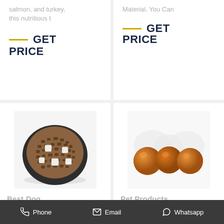salmon, and turkey, this nutritious t
GET PRICE
Material. You Can
GET PRICE
[Figure (photo): A black bowl filled with dry dog food kibble and white soft cube treats, viewed from above on a white background.]
Best Dog
[Figure (photo): Three golden-orange round pet treats or toys partially visible against a white/light background.]
Pet Products
Phone  Email  Whatsapp